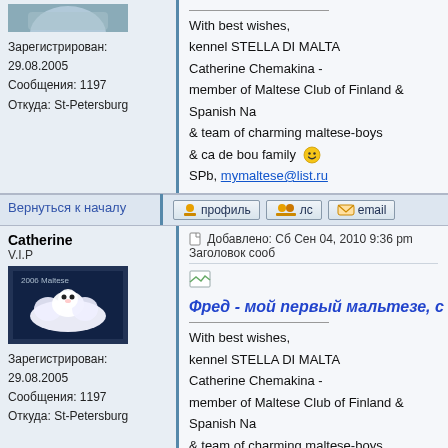Зарегистрирован: 29.08.2005
Сообщения: 1197
Откуда: St-Petersburg
With best wishes,
kennel STELLA DI MALTA
Catherine Chemakina -
member of Maltese Club of Finland & Spanish Na...
& team of charming maltese-boys
& ca de bou family
SPb, mymaltese@list.ru
Вернуться к началу
Catherine
V.I.P
Добавлено: Сб Сен 04, 2010 9:36 pm   Заголовок сооб...
Фред - мой первый мальтезе, с...
With best wishes,
kennel STELLA DI MALTA
Catherine Chemakina -
member of Maltese Club of Finland & Spanish Na...
& team of charming maltese-boys
& ca de bou family
SPb, mymaltese@list.ru
Вернуться к началу